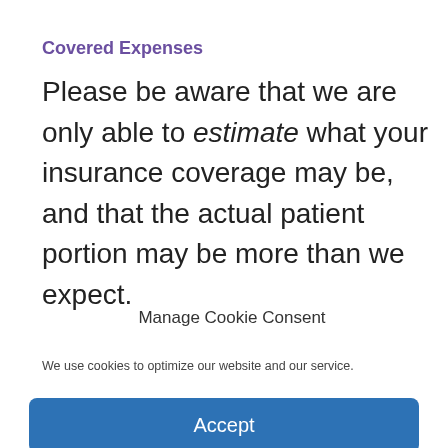Covered Expenses
Please be aware that we are only able to estimate what your insurance coverage may be, and that the actual patient portion may be more than we expect.
Manage Cookie Consent
We use cookies to optimize our website and our service.
Accept